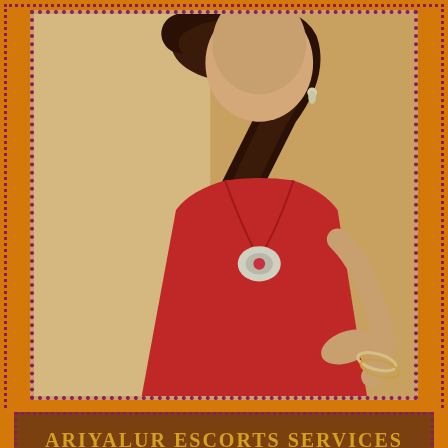[Figure (photo): Woman in red halter dress with decorative brooch and bracelets, long dark wavy hair, photographed from mid-torso up]
ARIYALUR ESCORTS SERVICES
COLLEGE GIRLS
HOUSEWIFE ESCORTS